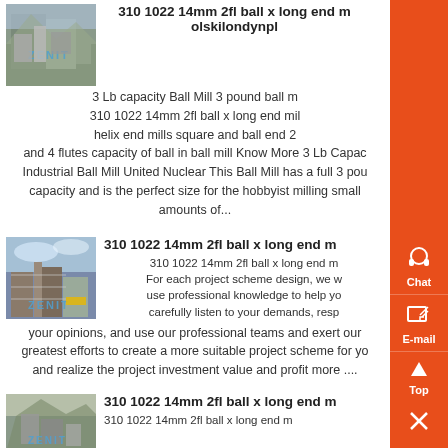[Figure (photo): Industrial mining/milling facility with ZENIT watermark - first result image]
310 1022 14mm 2fl ball x long end mill olskilondynpl
3 Lb capacity Ball Mill 3 pound ball mill 310 1022 14mm 2fl ball x long end mill helix end mills square and ball end 2 and 4 flutes capacity of ball in ball mill Know More 3 Lb Capacity Industrial Ball Mill United Nuclear This Ball Mill has a full 3 pound capacity and is the perfect size for the hobbyist milling small amounts of...
[Figure (photo): Industrial mining/milling facility with scaffolding and ZENIT watermark - second result image]
310 1022 14mm 2fl ball x long end mill
310 1022 14mm 2fl ball x long end mill For each project scheme design, we will use professional knowledge to help you carefully listen to your demands, respect your opinions, and use our professional teams and exert our greatest efforts to create a more suitable project scheme for you and realize the project investment value and profit more ....
[Figure (photo): Industrial mining/milling facility with ZENIT watermark - third result image]
310 1022 14mm 2fl ball x long end mill
310 1022 14mm 2fl ball x long end mill